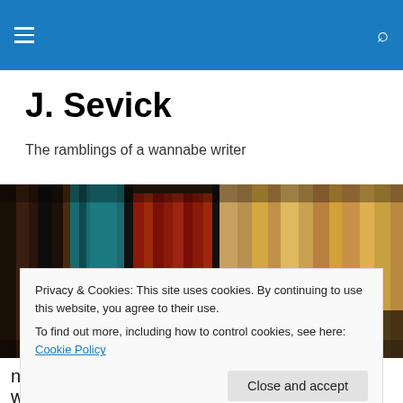Navigation bar with menu icon and search icon
J. Sevick
The ramblings of a wannabe writer
[Figure (photo): A close-up photograph of books on shelves in a bookstore or library, showing colourful spines densely packed together.]
Privacy & Cookies: This site uses cookies. By continuing to use this website, you agree to their use.
To find out more, including how to control cookies, see here: Cookie Policy
[Close and accept button]
noticing certain things more given context, as well as